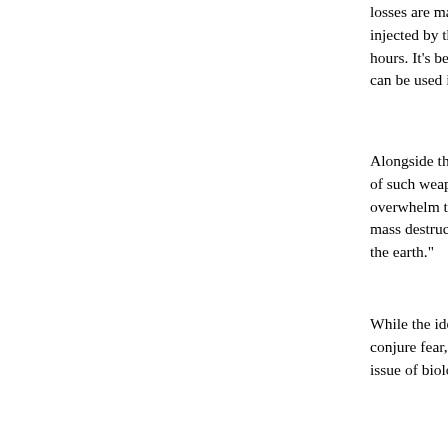losses are massive," said the instructions on... injected by the bacteria, the symptoms of the... hours. It's best to use in places like undergro... can be used in a suicide attack as well."
Alongside the instructions was also a messa... of such weapons - part of a Fatwa which says... overwhelm the infidels in any other way, they... mass destruction to kill everyone and erase t... the earth."
While the idea of ISIS establishing such deva... conjure fear, this isn't the first time that terrori... issue of biological weapons to the forefront o...
Even before the September 11 attacks in the... attempts to use chemical weapons in Afghan... members of the extremist group could be see... US invested substantial efforts to prevent al-Q... weapons, but the information on the laptop fr... organizations are still working to develop suc... thousands of people in one breath.
The fear is that the longer ISIS continues to e... its ranks and use labs in the areas already ca... chemical weapons capabilities. Such labs exi... in Syria, both in the hands of ISIS militants.